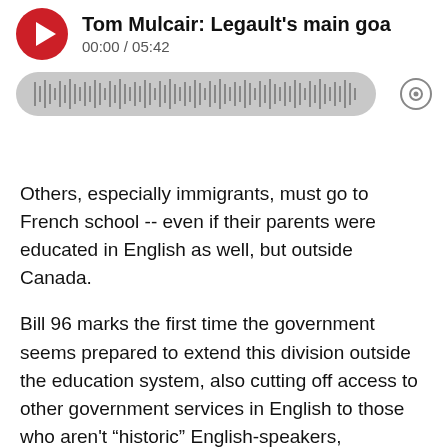[Figure (screenshot): Audio player with red play button, title 'Tom Mulcair: Legault's main goa...' (truncated), time display '00:00 / 05:42', waveform progress bar in grey, and speaker/settings icon]
Others, especially immigrants, must go to French school -- even if their parents were educated in English as well, but outside Canada.
Bill 96 marks the first time the government seems prepared to extend this division outside the education system, also cutting off access to other government services in English to those who aren't “historic” English-speakers, especially new immigrants.